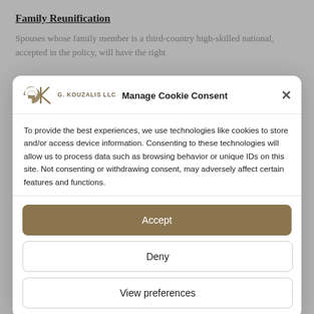Family Reunification
Spouses whose family member is a third-country high-skilled national, accepted in the policy, will have the right
[Figure (screenshot): Cookie consent modal dialog with G. Kouzalis LLC logo, title 'Manage Cookie Consent', body text about cookies, and three buttons: Accept, Deny, View preferences]